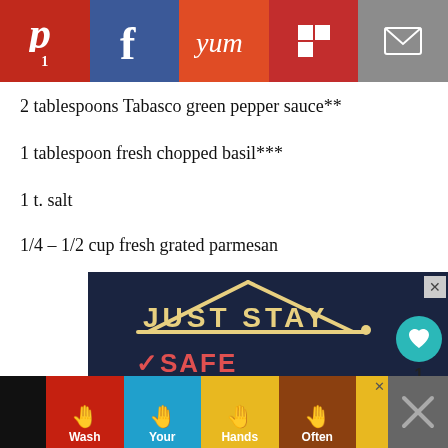[Figure (infographic): Social sharing bar with Pinterest (1), Facebook, Yummly, Flipboard, and email buttons]
2 tablespoons Tabasco green pepper sauce**
1 tablespoon fresh chopped basil***
1 t. salt
1/4 – 1/2 cup fresh grated parmesan
[Figure (infographic): Advertisement: dark navy background with hand-lettered text reading JUST STAY / SAFE / INSIDE / POSITIVE. What's Next panel showing Spaghetti Squash Gratin.]
[Figure (infographic): Bottom banner advertisement: Wash Your Hands Often, colorful panels with hand-washing illustrations]